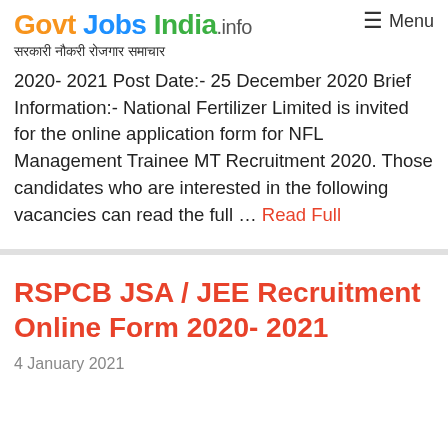Govt Jobs India .info | सरकारी नौकरी रोजगार समाचार | Menu
2020- 2021 Post Date:- 25 December 2020 Brief Information:- National Fertilizer Limited is invited for the online application form for NFL Management Trainee MT Recruitment 2020. Those candidates who are interested in the following vacancies can read the full … Read Full
RSPCB JSA / JEE Recruitment Online Form 2020- 2021
4 January 2021